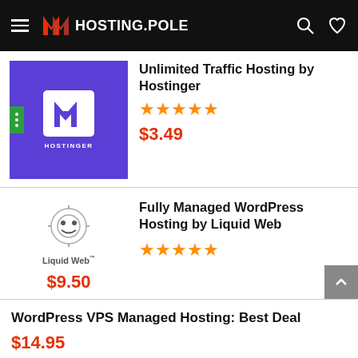HOSTING.POLE
Unlimited Traffic Hosting by Hostinger — ★★★★★ — $3.49
Fully Managed WordPress Hosting by Liquid Web — ★★★★★ — $9.50
WordPress VPS Managed Hosting: Best Deal — $14.95
Bluehost Standard VPS Hosting